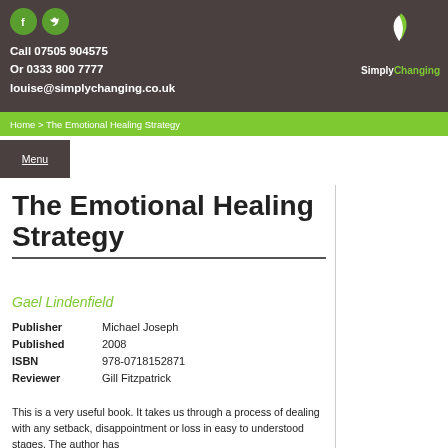Call 07505 904575
Or 0333 800 7777
louise@simplychanging.co.uk
SimplyChanging
Home > The Emotional Healing Strategy
Menu
The Emotional Healing Strategy
Gael Lindenfield
| Publisher | Michael Joseph |
| Published | 2008 |
| ISBN | 978-0718152871 |
| Reviewer | Gill Fitzpatrick |
This is a very useful book. It takes us through a process of dealing with any setback, disappointment or loss in easy to understood stages. The author has